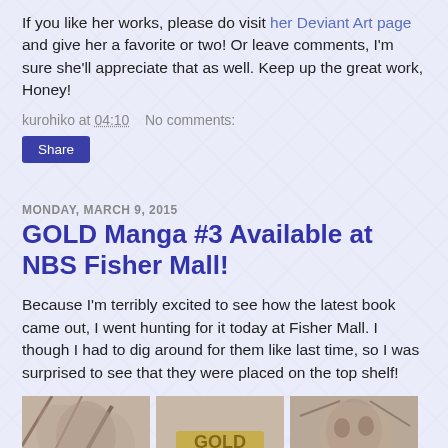If you like her works, please do visit her Deviant Art page and give her a favorite or two! Or leave comments, I'm sure she'll appreciate that as well. Keep up the great work, Honey!
kurohiko at 04:10    No comments:
Share
MONDAY, MARCH 9, 2015
GOLD Manga #3 Available at NBS Fisher Mall!
Because I'm terribly excited to see how the latest book came out, I went hunting for it today at Fisher Mall. I though I had to dig around for them like last time, so I was surprised to see that they were placed on the top shelf!
[Figure (photo): Three manga/comic book images shown at the bottom of the page, partially cropped.]